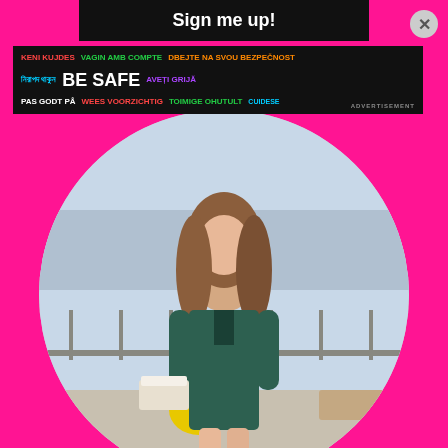Sign me up!
[Figure (photo): Advertisement banner with multilingual 'BE SAFE' messages in colorful text on dark background: KENI KUJDES, VAGIN AMB COMPTE, DBEJTE NA SVOU BEZPECNOST, Bengali text, BE SAFE, AVETI GRIJA, PAS GODT PA, WEES VOORZICHTIG, TOIMIGE OHUTULT, and other text]
[Figure (photo): Circular cropped photo of a young woman with long brown hair wearing a dark teal lace-up bodycon dress, standing on a rooftop terrace holding a take-out food container, cityscape in background with yellow chair]
ADVERTISEMENT